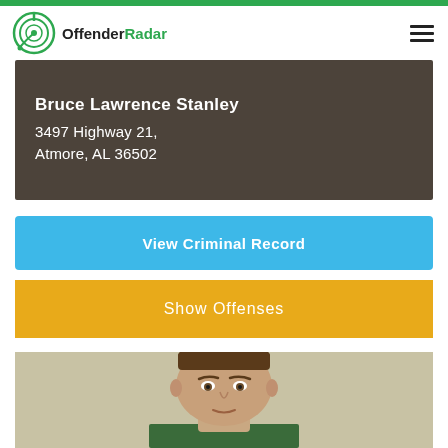OffenderRadar
[Figure (photo): Profile banner showing name Bruce Lawrence Stanley and address 3497 Highway 21, Atmore, AL 36502 overlaid on a dark background]
View Criminal Record
Show Offenses
[Figure (photo): Mugshot photo of Bruce Lawrence Stanley, a young white male with short dark brown hair, facing forward against a light background]